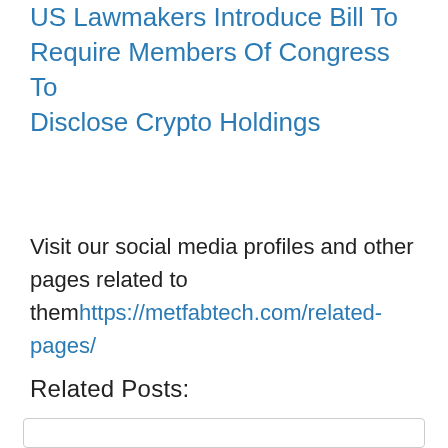US Lawmakers Introduce Bill To Require Members Of Congress To Disclose Crypto Holdings
Visit our social media profiles and other pages related to themhttps://metfabtech.com/related-pages/
Related Posts: